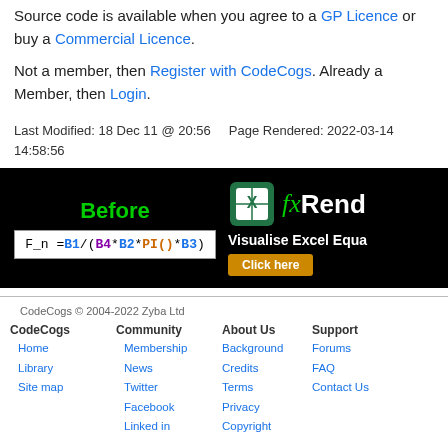Source code is available when you agree to a GP Licence or buy a Commercial Licence.
Not a member, then Register with CodeCogs. Already a Member, then Login.
Last Modified: 18 Dec 11 @ 20:56    Page Rendered: 2022-03-14 14:58:56
[Figure (screenshot): Black banner advertisement showing 'Before' label in green, an Excel formula box reading 'F_n =B1/(B4*B2*PI()*B3)', a green fx logo, 'fxRende' text, 'Visualise Excel Equa' text, and a 'Click here' button]
CodeCogs © 2004-2022 Zyba Ltd | CodeCogs: Home, Library, Site map | Community: Membership, News, Twitter, Facebook, Linked in | About Us: Background, Credits, Terms, Privacy, Copyright | Support: Forums, FAQ, Contact Us